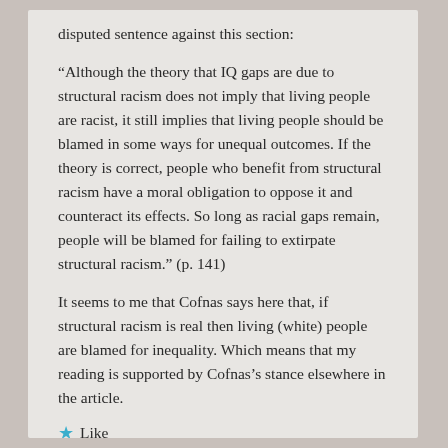disputed sentence against this section:
“Although the theory that IQ gaps are due to structural racism does not imply that living people are racist, it still implies that living people should be blamed in some ways for unequal outcomes. If the theory is correct, people who benefit from structural racism have a moral obligation to oppose it and counteract its effects. So long as racial gaps remain, people will be blamed for failing to extirpate structural racism.” (p. 141)
It seems to me that Cofnas says here that, if structural racism is real then living (white) people are blamed for inequality. Which means that my reading is supported by Cofnas’s stance elsewhere in the article.
★ Like